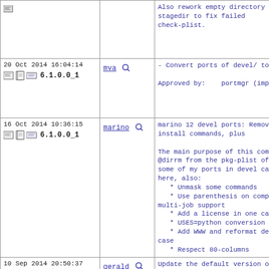| Date/Version | Committer | Commit Message |
| --- | --- | --- |
|  |  | Also rework empty directory re...
stagedir to fix failed
check-plist. |
| 20 Oct 2014 16:04:14
6.1.0.0_1 | mva | - Convert ports of devel/ to U...

Approved by:    portmgr (impl... |
| 16 Oct 2014 10:36:15
6.1.0.0_1 | marino | marino 12 devel ports: Remove...
install commands, plus

The main purpose of this comm...
@dirrm from the pkg-plist of
some of my ports in devel cate...
here, also:
   * Unmask some commands
   * Use parenthesis on compou...
multi-job support
   * Add a license in one case...
   * USES=python conversion in...
   * Add WWW and reformat descr...
case
   * Respect 80-columns |
| 10 Sep 2014 20:50:37
6.1.0.0_1 | gerald | Update the default version of...
Ports Collection from GCC 4.7...
to GCC 4.8.3.

Part II, Bump PORTREVISIONs. |